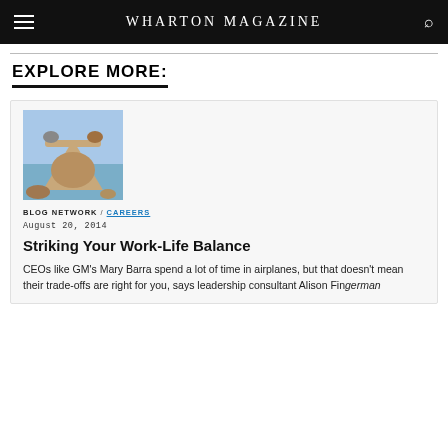WHARTON MAGAZINE
EXPLORE MORE:
[Figure (photo): Balanced rocks stacked on each other against a blue sky and water background, representing work-life balance.]
BLOG NETWORK / CAREERS
August 20, 2014
Striking Your Work-Life Balance
CEOs like GM's Mary Barra spend a lot of time in airplanes, but that doesn't mean their trade-offs are right for you, says leadership consultant Alison Fingerman